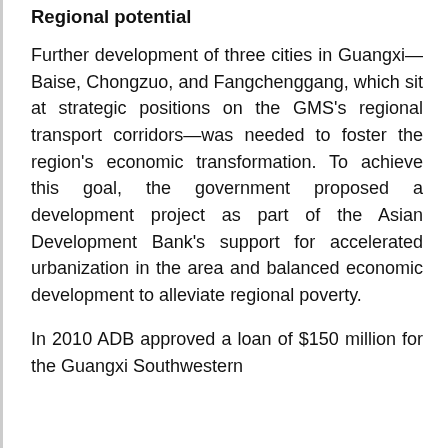Regional potential
Further development of three cities in Guangxi—Baise, Chongzuo, and Fangchenggang, which sit at strategic positions on the GMS's regional transport corridors—was needed to foster the region's economic transformation. To achieve this goal, the government proposed a development project as part of the Asian Development Bank's support for accelerated urbanization in the area and balanced economic development to alleviate regional poverty.
In 2010 ADB approved a loan of $150 million for the Guangxi Southwestern